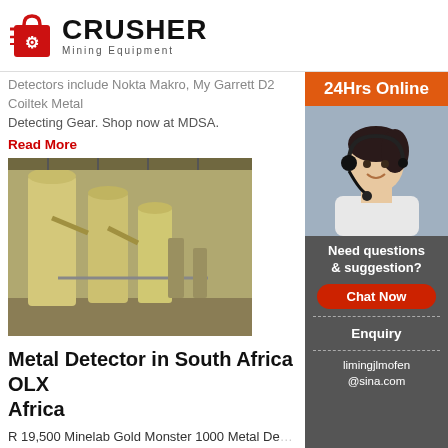CRUSHER Mining Equipment
Detectors include Nokta Makro, My Garrett D2 Coiltek Metal Detecting Gear. Shop now at MDSA.
Read More
[Figure (photo): Industrial mining/milling equipment — large yellow silos and conveyors inside a warehouse]
Metal Detector in South Africa OLX South Africa
R 19,500 Minelab Gold Monster 1000 Metal Detector. Walmer, Port Elizabeth Aug 23. R 185,000 Minelab 7000 Gold Metal Detector. Walmer, Port Elizabeth... 71,000 Minelab GPX 5000 Gold Metal Detector (STANDARD PACK) Walmer, Port Elizabeth Aug... 68,000 Minelab SDC 2300 Gold Metal Detector.
Read More
[Figure (infographic): Sidebar: 24Hrs Online banner, customer service representative photo, Need questions & suggestion? Chat Now button, Enquiry link, limingjlmofen@sina.com contact]